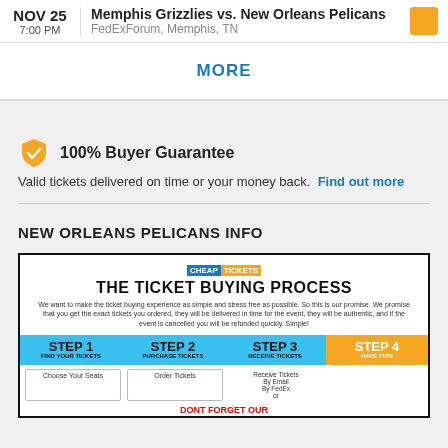NOV 25 7:00 PM Memphis Grizzlies vs. New Orleans Pelicans FedExForum, Memphis, TN
MORE
100% Buyer Guarantee
Valid tickets delivered on time or your money back. Find out more
NEW ORLEANS PELICANS INFO
[Figure (infographic): CheapTickets infographic titled 'The Ticket Buying Process' showing 4 steps: Step 1 Find Your Tickets, Step 2 Purchase Tickets, Step 3 Receive Tickets, Step 4 Have Fun! With a blue bar for steps 1-3 and orange for step 4. Below shows detail boxes for each step. Bottom text reads 'DONT FORGET OUR' followed by partially visible text.]